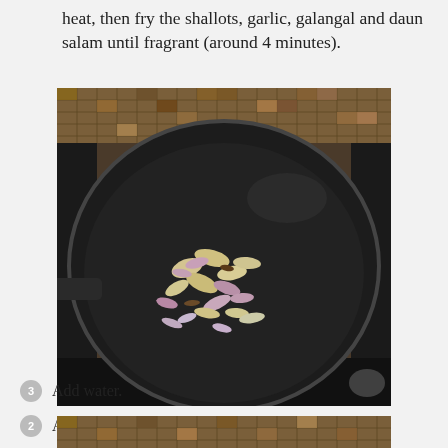heat, then fry the shallots, garlic, galangal and daun salam until fragrant (around 4 minutes).
[Figure (photo): A black non-stick frying pan viewed from above, containing sliced shallots and garlic being sautéed. The pan is on a stove with a decorative tiled backsplash visible in the background.]
Add tempeh cubes and long beans, stir.
Add water.
[Figure (photo): Bottom portion of a second photo showing a tiled mosaic surface, partially visible at the bottom of the page.]